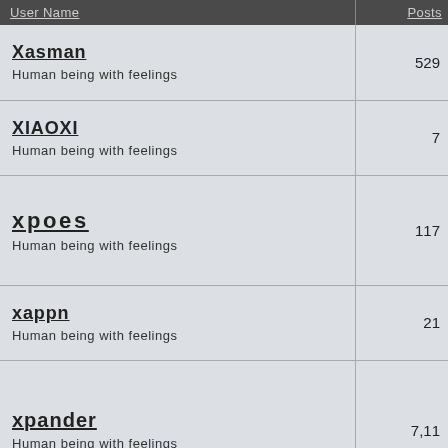| User Name | Posts |
| --- | --- |
| Xasman
Human being with feelings | 529 |
| XIAOXI
Human being with feelings | 7 |
| xpoes
Human being with feelings | 117 |
| xappn
Human being with feelings | 21 |
| xpander
Human being with feelings | 7,11 |
| xmariox
Human being with feelings | 0 |